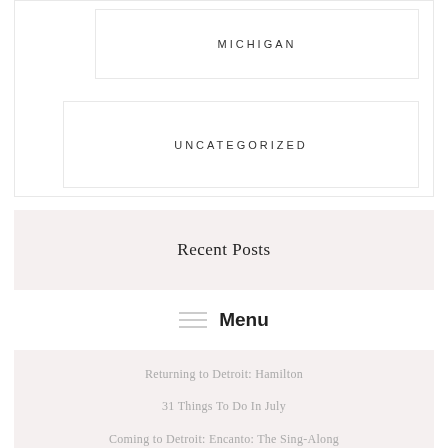MICHIGAN
UNCATEGORIZED
Recent Posts
Menu
Returning to Detroit: Hamilton
31 Things To Do In July
Coming to Detroit: Encanto: The Sing-Along